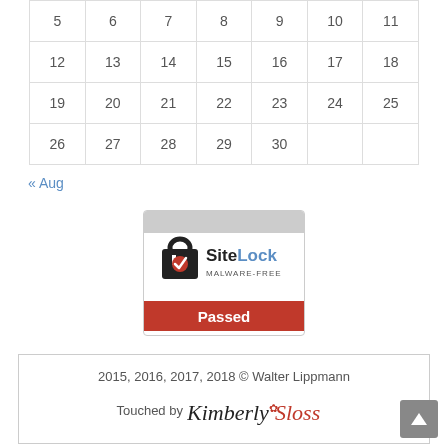| 5 | 6 | 7 | 8 | 9 | 10 | 11 |
| 12 | 13 | 14 | 15 | 16 | 17 | 18 |
| 19 | 20 | 21 | 22 | 23 | 24 | 25 |
| 26 | 27 | 28 | 29 | 30 |  |  |
« Aug
[Figure (logo): SiteLock Malware-Free Passed badge]
2015, 2016, 2017, 2018 © Walter Lippmann
Touched by Kimberly Sloss